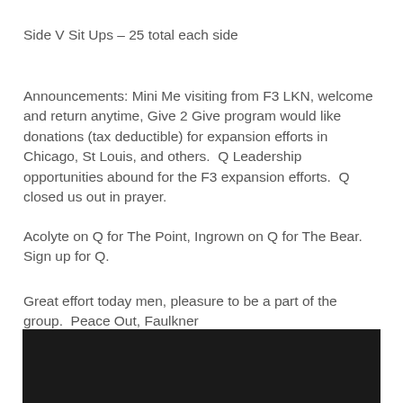Side V Sit Ups – 25 total each side
Announcements: Mini Me visiting from F3 LKN, welcome and return anytime, Give 2 Give program would like donations (tax deductible) for expansion efforts in Chicago, St Louis, and others.  Q Leadership opportunities abound for the F3 expansion efforts.  Q closed us out in prayer.
Acolyte on Q for The Point, Ingrown on Q for The Bear.  Sign up for Q.
Great effort today men, pleasure to be a part of the group.  Peace Out, Faulkner
[Figure (photo): Dark/black photograph partially visible at the bottom of the page]